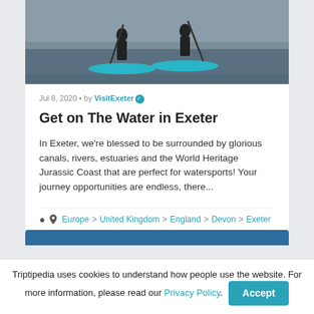[Figure (photo): Two people standing on paddleboards on water, wearing black wetsuits and holding paddles. Teal/blue inflatable paddleboards visible.]
Jul 8, 2020 • by VisitExeter ✓
Get on The Water in Exeter
In Exeter, we're blessed to be surrounded by glorious canals, rivers, estuaries and the World Heritage Jurassic Coast that are perfect for watersports! Your journey opportunities are endless, there...
📍 Europe > United Kingdom > England > Devon > Exeter
Triptipedia uses cookies to understand how people use the website. For more information, please read our Privacy Policy.  Accept